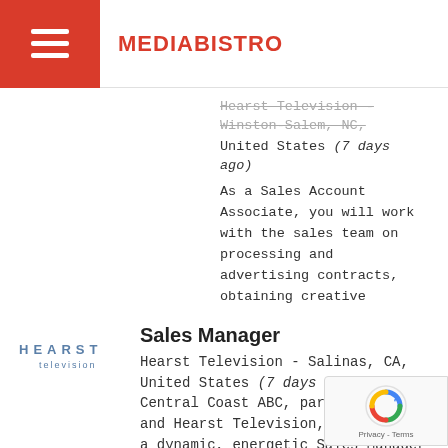MEDIABISTRO
Hearst Television - Winston-Salem, NC, United States (7 days ago)
As a Sales Account Associate, you will work with the sales team on processing and advertising contracts, obtaining creative materials, generating s...
[Figure (logo): Hearst Television logo - text logo with 'HEARST' in blue spaced letters and 'television' below]
Sales Manager
Hearst Television - Salinas, CA, United States (7 days ago)
Central Coast ABC, part of KSBW-TV and Hearst Television, is seeking a dynamic, energetic Sales Manager who is ready to take a growing stati...